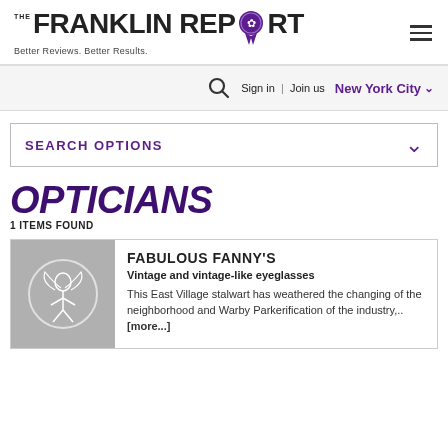[Figure (logo): The Franklin Report logo with ribbon/award badge, text reads THE FRANKLIN REPORT Better Reviews. Better Results.]
Sign in | Join us   New York City
SEARCH OPTIONS
OPTICIANS
1 ITEMS FOUND
FABULOUS FANNY'S
Vintage and vintage-like eyeglasses
This East Village stalwart has weathered the changing of the neighborhood and Warby Parkerification of the industry,.. [more...]